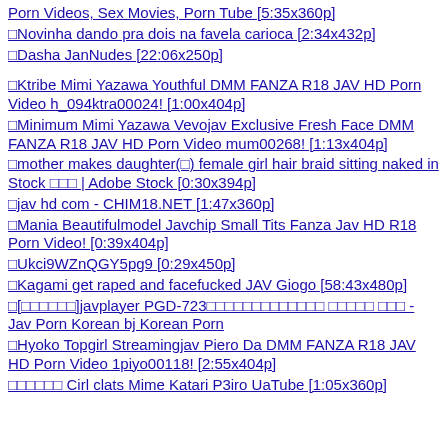Porn Videos, Sex Movies, Porn Tube [5:35x360p]
□Novinha dando pra dois na favela carioca [2:34x432p]
□Dasha JanNudes [22:06x250p]
□Ktribe Mimi Yazawa Youthful DMM FANZA R18 JAV HD Porn Video h_094ktra00024! [1:00x404p]
□Minimum Mimi Yazawa Vevojav Exclusive Fresh Face DMM FANZA R18 JAV HD Porn Video mum00268! [1:13x404p]
□mother makes daughter(□) female girl hair braid sitting naked in Stock □□□ | Adobe Stock [0:30x394p]
□jav hd com - CHIM18.NET [1:47x360p]
□Mania Beautifulmodel Javchip Small Tits Fanza Jav HD R18 Porn Video! [0:39x404p]
□Ukci9WZnQGY5pg9 [0:29x450p]
□Kagami get raped and facefucked JAV Giogo [58:43x480p]
□[□□□□□□]javplayer PGD-723□□□□□□□□□□□□□ □□□□□ □□□ - Jav Porn Korean bj Korean Porn
□Hyoko Topgirl Streamingjav Piero Da DMM FANZA R18 JAV HD Porn Video 1piyo00118! [2:55x404p]
□□□□□□ Cirl clats Mime Katari P3iro UaTube [1:05x360p]